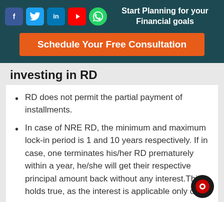Start Planning for your Financial goals
Schedule Your Free Consultation
investing in RD
RD does not permit the partial payment of installments.
In case of NRE RD, the minimum and maximum lock-in period is 1 and 10 years respectively. If in case, one terminates his/her RD prematurely within a year, he/she will get their respective principal amount back without any interest.This holds true, as the interest is applicable only on